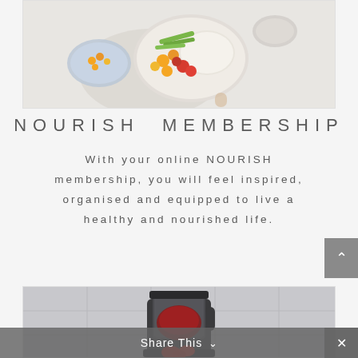[Figure (photo): Overhead view of a healthy meal bowl with colorful vegetables including tomatoes, green beans, and grains on a light background]
NOURISH MEMBERSHIP
With your online NOURISH membership, you will feel inspired, organised and equipped to live a healthy and nourished life.
[Figure (photo): A blender with red berries or smoothie ingredients on a light background, partially visible]